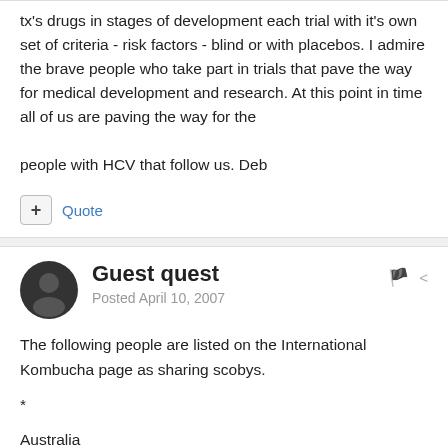tx's drugs in stages of development each trial with it's own set of criteria - risk factors - blind or with placebos. I admire the brave people who take part in trials that pave the way for medical development and research. At this point in time all of us are paving the way for the

people with HCV that follow us. Deb
Quote
Guest quest
Posted April 10, 2007
The following people are listed on the International Kombucha page as sharing scobys.

*

Australia

Australien* * n Gray*

PO Box 1264